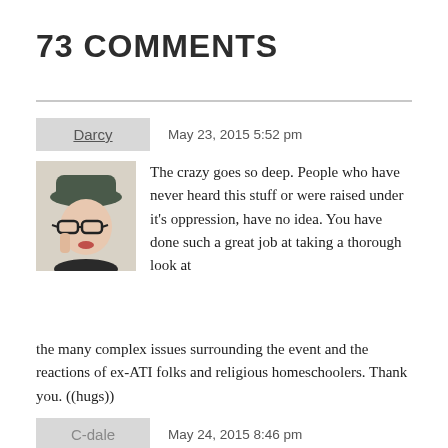73 COMMENTS
Darcy   May 23, 2015 5:52 pm
The crazy goes so deep. People who have never heard this stuff or were raised under it’s oppression, have no idea. You have done such a great job at taking a thorough look at the many complex issues surrounding the event and the reactions of ex-ATI folks and religious homeschoolers. Thank you. ((hugs))
Reply
C-dale   May 24, 2015 8:46 pm